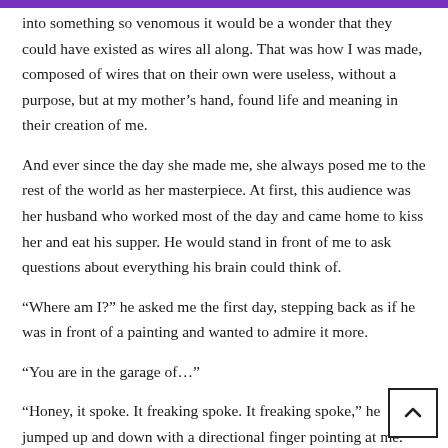into something so venomous it would be a wonder that they could have existed as wires all along. That was how I was made, composed of wires that on their own were useless, without a purpose, but at my mother's hand, found life and meaning in their creation of me.
And ever since the day she made me, she always posed me to the rest of the world as her masterpiece. At first, this audience was her husband who worked most of the day and came home to kiss her and eat his supper. He would stand in front of me to ask questions about everything his brain could think of.
“Where am I?” he asked me the first day, stepping back as if he was in front of a painting and wanted to admire it more.
“You are in the garage of…”
“Honey, it spoke. It freaking spoke. It freaking spoke,” he jumped up and down with a directional finger pointing at me.